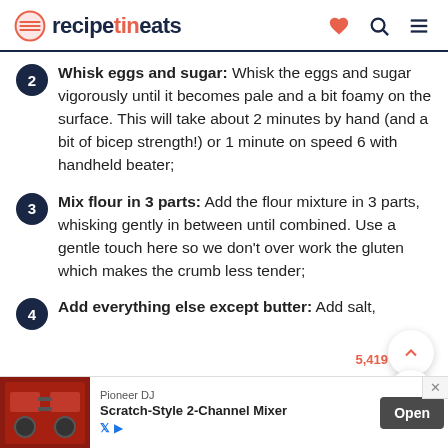recipetineats
Whisk eggs and sugar: Whisk the eggs and sugar vigorously until it becomes pale and a bit foamy on the surface. This will take about 2 minutes by hand (and a bit of bicep strength!) or 1 minute on speed 6 with handheld beater;
Mix flour in 3 parts: Add the flour mixture in 3 parts, whisking gently in between until combined. Use a gentle touch here so we don't over work the gluten which makes the crumb less tender;
Add everything else except butter: Add salt, oil … until combined.
[Figure (screenshot): Pioneer DJ Scratch-Style 2-Channel Mixer advertisement banner at the bottom of the page with an Open button]